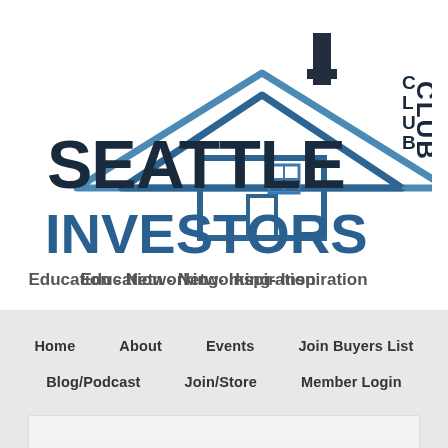[Figure (logo): Seattle Investors Club logo with house/roof graphic. Text reads SEATTLE INVESTORS CLUB with tagline Education - Networking- Inspiration]
Home    About    Events    Join Buyers List
Blog/Podcast    Join/Store    Member Login